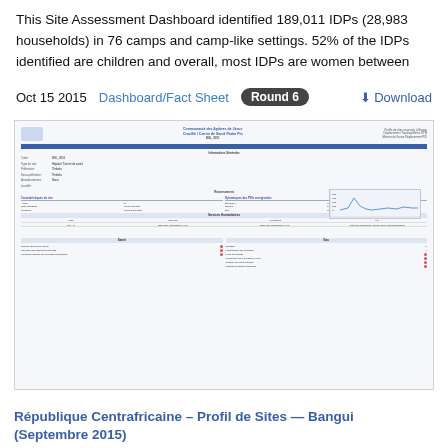This Site Assessment Dashboard identified 189,011 IDPs (28,983 households) in 76 camps and camp-like settings. 52% of the IDPs identified are children and overall, most IDPs are women between
Oct 15 2015   Dashboard/Fact Sheet   Round 6   Download
[Figure (screenshot): Thumbnail screenshot of a site assessment document titled 'Communauté des Apôtres de Jésus Crucifié / Centre de Santé Padre Pio' from République Centrafricaine – Profil de Sites — Bangui (Septembre 2015). The document contains tables, charts, health indicators and site data fields with blue headers.]
République Centrafricaine – Profil de Sites — Bangui (Septembre 2015)